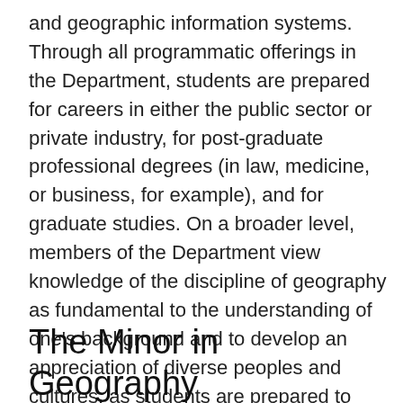and geographic information systems. Through all programmatic offerings in the Department, students are prepared for careers in either the public sector or private industry, for post-graduate professional degrees (in law, medicine, or business, for example), and for graduate studies. On a broader level, members of the Department view knowledge of the discipline of geography as fundamental to the understanding of one's background and to develop an appreciation of diverse peoples and cultures, as students are prepared to function effectively as citizens of their community, their nation, and the world.
The Minor in Geography Courses